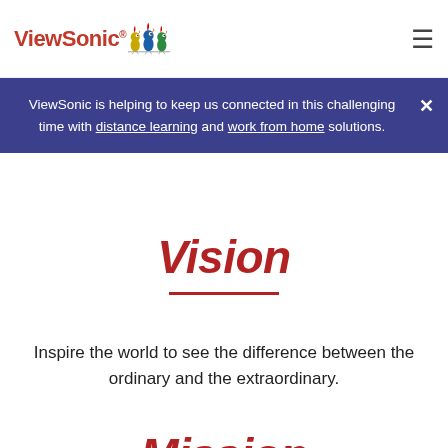ViewSonic [logo with birds] [hamburger menu]
ViewSonic is helping to keep us connected in this challenging time with distance learning and work from home solutions.
Vision
Inspire the world to see the difference between the ordinary and the extraordinary.
Mission